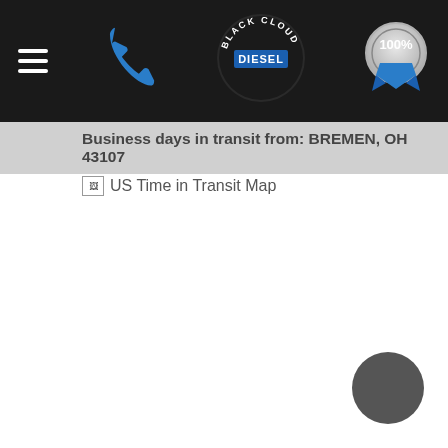Black Cloud Diesel navigation header with hamburger menu, phone icon, logo, and 100% badge
Business days in transit from: BREMEN, OH 43107
[Figure (other): Broken image placeholder for US Time in Transit Map with alt text 'US Time in Transit Map']